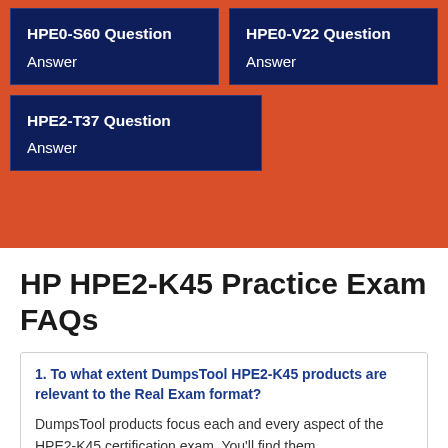[Figure (other): Top orange section with two dark navy card links: HPE0-S60 Question Answer and HPE0-V22 Question Answer]
[Figure (other): Dark navy card link: HPE2-T37 Question Answer on orange background]
HP HPE2-K45 Practice Exam FAQs
1. To what extent DumpsTool HPE2-K45 products are relevant to the Real Exam format?
DumpsTool products focus each and every aspect of the HPE2-K45 certification exam. You'll find them